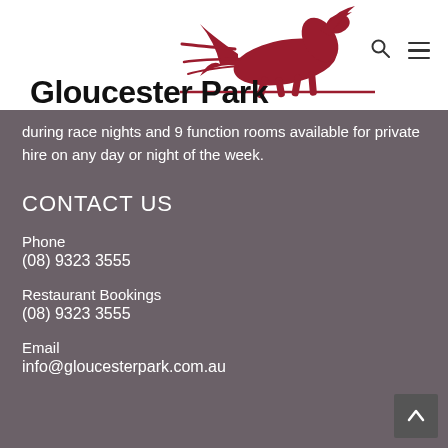Gloucester Park
during race nights and 9 function rooms available for private hire on any day or night of the week.
CONTACT US
Phone
(08) 9323 3555
Restaurant Bookings
(08) 9323 3555
Email
info@gloucesterpark.com.au